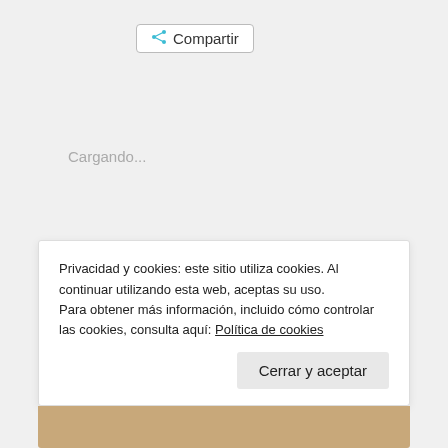[Figure (other): Share button with icon showing 'Compartir']
Cargando...
Charly W. Karl   Sin categoría   Deja un comentario   noviembre 24, 2021   1 minuto
Privacidad y cookies: este sitio utiliza cookies. Al continuar utilizando esta web, aceptas su uso.
Para obtener más información, incluido cómo controlar las cookies, consulta aquí: Política de cookies
Cerrar y aceptar